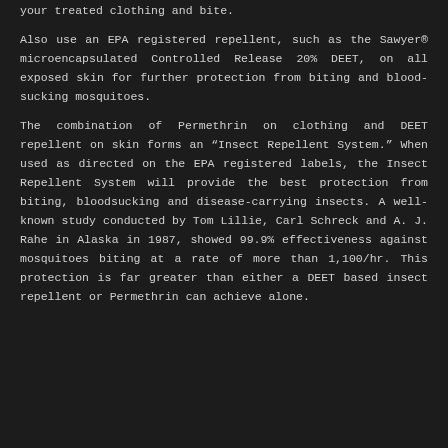your treated clothing and bite.
Also use an EPA registered repellent, such as the Sawyer® microencapsulated Controlled Release 20% DEET, on all exposed skin for further protection from biting and blood-sucking mosquitoes.
The combination of Permethrin on clothing and DEET repellent on skin forms an “Insect Repellent System.” When used as directed on the EPA registered labels, the Insect Repellent System will provide the best protection from biting, bloodsucking and disease-carrying insects. A well-known study conducted by Tom Lillie, Carl Schreck and A. J. Rahe in Alaska in 1987, showed 99.9% effectiveness against mosquitoes biting at a rate of more than 1,100/hr. This protection is far greater than either a DEET based insect repellent or Permethrin can achieve alone.